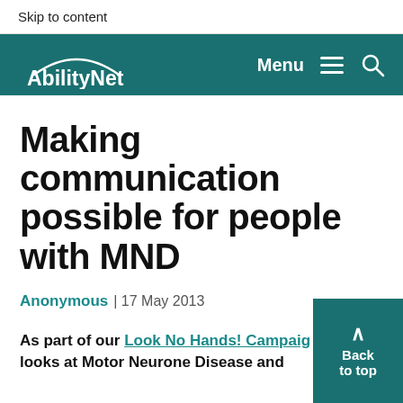Skip to content
AbilityNet | Menu
Making communication possible for people with MND
Anonymous | 17 May 2013
As part of our Look No Hands! Campaign, this blog looks at Motor Neurone Disease and